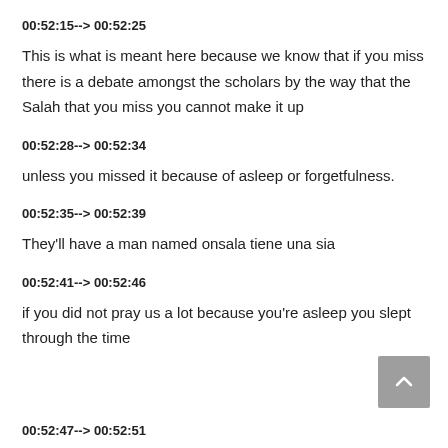00:52:15--> 00:52:25
This is what is meant here because we know that if you miss there is a debate amongst the scholars by the way that the Salah that you miss you cannot make it up
00:52:28--> 00:52:34
unless you missed it because of asleep or forgetfulness.
00:52:35--> 00:52:39
They'll have a man named onsala tiene una sia
00:52:41--> 00:52:46
if you did not pray us a lot because you're asleep you slept through the time
00:52:47--> 00:52:51